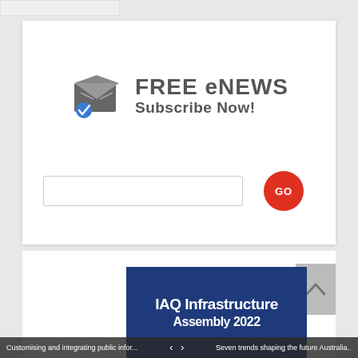[Figure (screenshot): FREE eNEWS Subscribe Now! banner with envelope icon and checkmark badge, email input field and red GO button]
[Figure (screenshot): IAQ Infrastructure Assembly 2022 dark blue banner card with a scroll-to-top button]
Customising and integrating public infor... < > Seven trends shaping the future Australia...